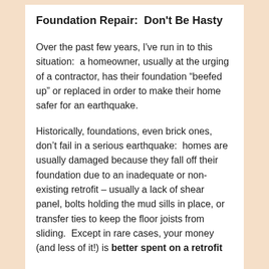Foundation Repair:  Don't Be Hasty
Over the past few years, I've run in to this situation:  a homeowner, usually at the urging of a contractor, has their foundation “beefed up” or replaced in order to make their home safer for an earthquake.
Historically, foundations, even brick ones, don’t fail in a serious earthquake:  homes are usually damaged because they fall off their foundation due to an inadequate or non-existing retrofit – usually a lack of shear panel, bolts holding the mud sills in place, or transfer ties to keep the floor joists from sliding.  Except in rare cases, your money (and less of it!) is better spent on a retrofit than on a foundation replacement.